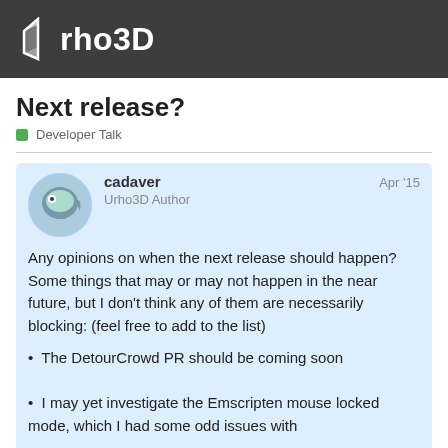Urho3D
Next release?
Developer Talk
cadaver  Apr '15
Urho3D Author
Any opinions on when the next release should happen? Some things that may or may not happen in the near future, but I don't think any of them are necessarily blocking: (feel free to add to the list)
The DetourCrowd PR should be coming soon
I may yet investigate the Emscripten mouse locked mode, which I had some odd issues with
Freeform vertex declarations is listed on the issue tracker, but it's a fairly major change and in some ways complicating and experimental (as it vertex buffer binding and morphs), so
1 / 28